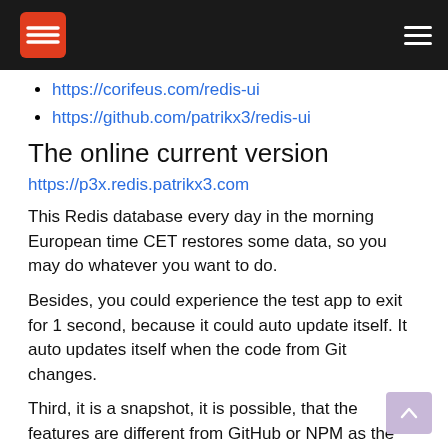Navigation bar with Redis logo and hamburger menu
https://corifeus.com/redis-ui
https://github.com/patrikx3/redis-ui
The online current version
https://p3x.redis.patrikx3.com
This Redis database every day in the morning European time CET restores some data, so you may do whatever you want to do.
Besides, you could experience the test app to exit for 1 second, because it could auto update itself. It auto updates itself when the code from Git changes.
Third, it is a snapshot, it is possible, that the features are different from GitHub or NPM as the releases are usually monthly or as they happen.
Screenshots
Screenshots readme